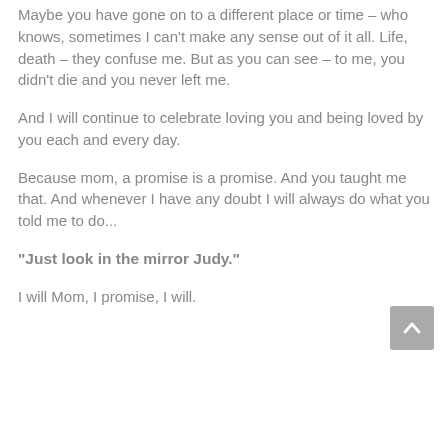Maybe you have gone on to a different place or time – who knows, sometimes I can't make any sense out of it all. Life, death – they confuse me. But as you can see – to me, you didn't die and you never left me.
And I will continue to celebrate loving you and being loved by you each and every day.
Because mom, a promise is a promise. And you taught me that. And whenever I have any doubt I will always do what you told me to do...
“Just look in the mirror Judy.”
I will Mom, I promise, I will.